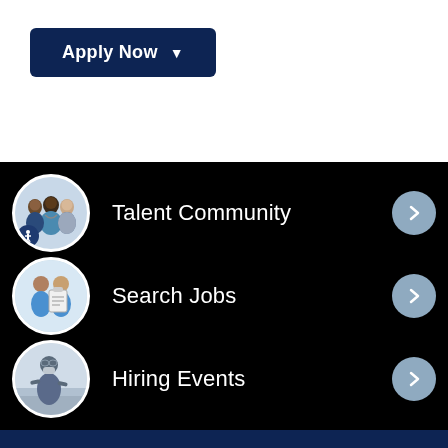[Figure (screenshot): Apply Now dropdown button with dark navy background and white text]
Talent Community
Search Jobs
Hiring Events